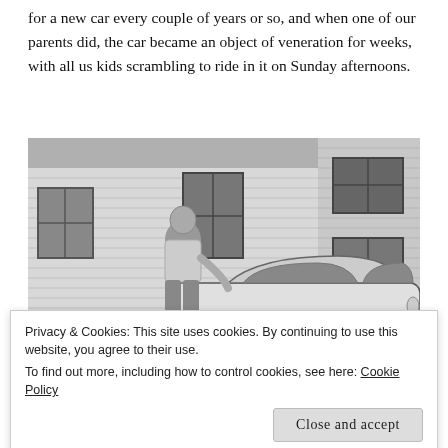for a new car every couple of years or so, and when one of our parents did, the car became an object of veneration for weeks, with all us kids scrambling to ride in it on Sunday afternoons.
[Figure (photo): Black and white photograph of a man leaning against a vintage car parked in front of a white clapboard house with windows visible.]
Privacy & Cookies: This site uses cookies. By continuing to use this website, you agree to their use. To find out more, including how to control cookies, see here: Cookie Policy
Close and accept
new car!